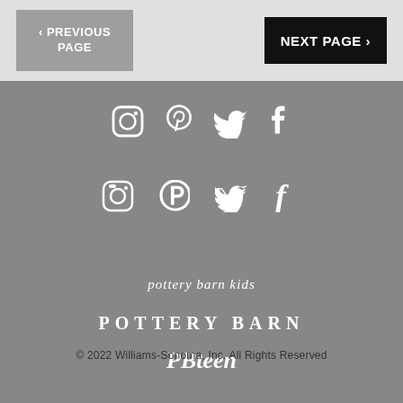‹ PREVIOUS PAGE
NEXT PAGE ›
[Figure (logo): Social media icons: Instagram, Pinterest, Twitter, Facebook in white on gray background]
[Figure (logo): pottery barn kids logo in white italic serif font]
[Figure (logo): POTTERY BARN logo in white spaced serif font]
[Figure (logo): PBteen logo in white bold italic serif font]
© 2022 Williams-Sonoma, Inc. All Rights Reserved